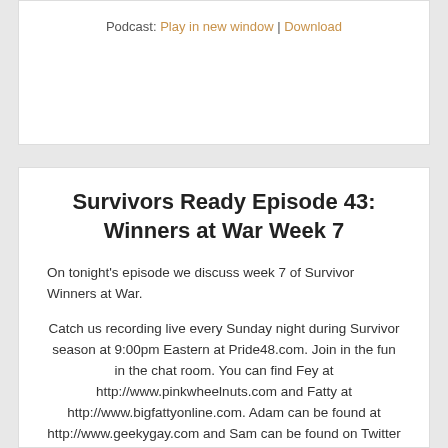Podcast: Play in new window | Download
Survivors Ready Episode 43: Winners at War Week 7
On tonight's episode we discuss week 7 of Survivor Winners at War.
Catch us recording live every Sunday night during Survivor season at 9:00pm Eastern at Pride48.com. Join in the fun in the chat room. You can find Fey at http://www.pinkwheelnuts.com and Fatty at http://www.bigfattyonline.com. Adam can be found at http://www.geekygay.com and Sam can be found on Twitter @SamintheH. You can find us at survivorsreadypodcast.com and find many more LGBT and LGBT friendly podcasts at pride48.com